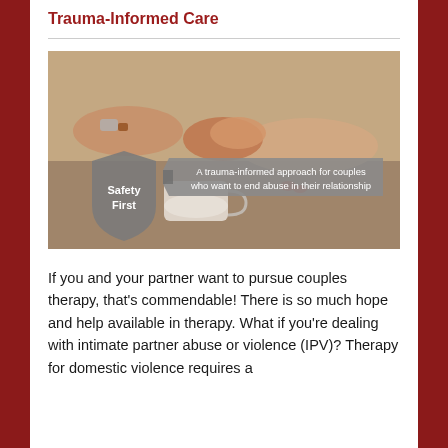Trauma-Informed Care
[Figure (photo): Photo of two people holding hands across a table with a coffee cup. Overlaid graphics include a shield icon labeled 'Safety First' and a banner reading 'A trauma-informed approach for couples who want to end abuse in their relationship'.]
If you and your partner want to pursue couples therapy, that's commendable! There is so much hope and help available in therapy. What if you're dealing with intimate partner abuse or violence (IPV)? Therapy for domestic violence requires a